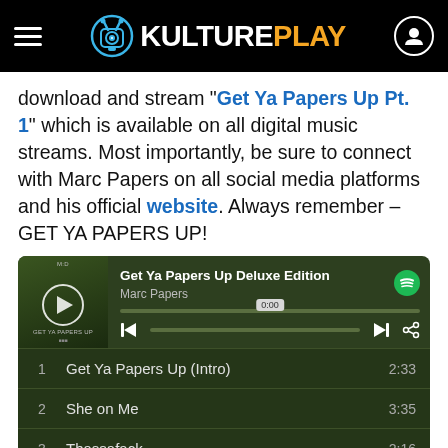KULTUREPLAY
download and stream "Get Ya Papers Up Pt. 1" which is available on all digital music streams. Most importantly, be sure to connect with Marc Papers on all social media platforms and his official website. Always remember – GET YA PAPERS UP!
[Figure (screenshot): Spotify music player card showing 'Get Ya Papers Up Deluxe Edition' by Marc Papers with album art and tracklist: 1. Get Ya Papers Up (Intro) 2:33, 2. She on Me 3:35, 3. Thassafack 2:16, 4. Gtgt 3:05]